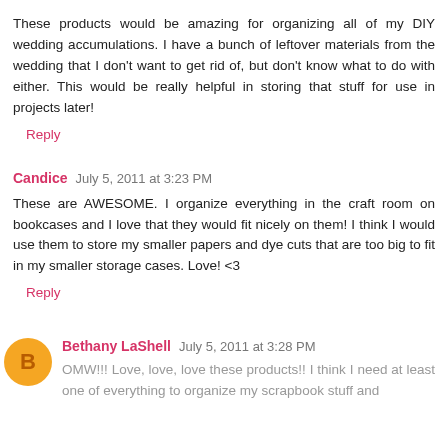These products would be amazing for organizing all of my DIY wedding accumulations. I have a bunch of leftover materials from the wedding that I don't want to get rid of, but don't know what to do with either. This would be really helpful in storing that stuff for use in projects later!
Reply
Candice  July 5, 2011 at 3:23 PM
These are AWESOME. I organize everything in the craft room on bookcases and I love that they would fit nicely on them! I think I would use them to store my smaller papers and dye cuts that are too big to fit in my smaller storage cases. Love! <3
Reply
Bethany LaShell  July 5, 2011 at 3:28 PM
OMW!!! Love, love, love these products!! I think I need at least one of everything to organize my scrapbook stuff and